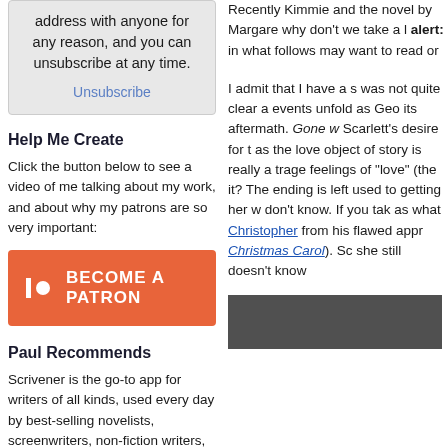address with anyone for any reason, and you can unsubscribe at any time.
Unsubscribe
Help Me Create
Click the button below to see a video of me talking about my work, and about why my patrons are so very important:
[Figure (other): Orange Patreon button reading BECOME A PATRON]
Paul Recommends
Scrivener is the go-to app for writers of all kinds, used every day by best-selling novelists, screenwriters, non-fiction writers, students, academics, lawyers, journalists, translators and more (including yours truly). Scrivener won't tell you how to write—it simply provides everything you need to start
Recently Kimmie and the novel by Margare why don't we take a l alert: in what follows may want to read or
I admit that I have a s was not quite clear a events unfold as Geo its aftermath. Gone w Scarlett's desire for t as the love object of story is really a trage feelings of "love" (the it? The ending is left used to getting her w don't know. If you tak as what Christopher from his flawed appr Christmas Carol). Sc she still doesn't know
[Figure (photo): Thumbnail image at bottom right]